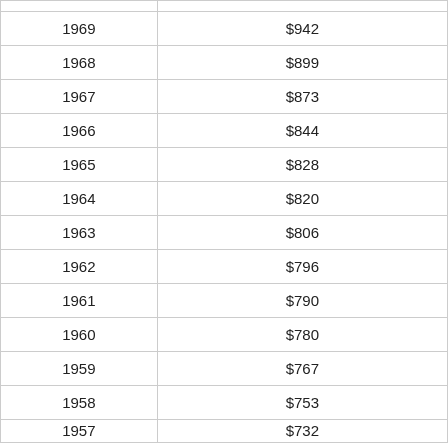| Year | Amount |
| --- | --- |
| 1969 | $942 |
| 1968 | $899 |
| 1967 | $873 |
| 1966 | $844 |
| 1965 | $828 |
| 1964 | $820 |
| 1963 | $806 |
| 1962 | $796 |
| 1961 | $790 |
| 1960 | $780 |
| 1959 | $767 |
| 1958 | $753 |
| 1957 | $732 |